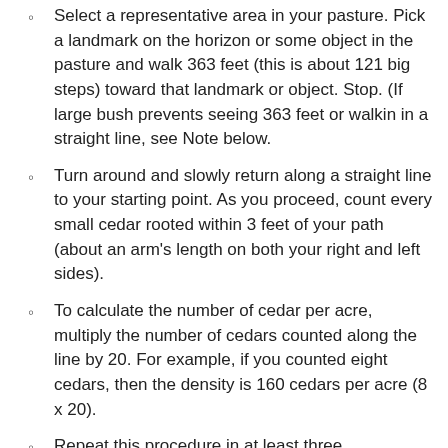Select a representative area in your pasture. Pick a landmark on the horizon or some object in the pasture and walk 363 feet (this is about 121 big steps) toward that landmark or object. Stop. (If large bush prevents seeing 363 feet or walkin in a straight line, see Note below.
Turn around and slowly return along a straight line to your starting point. As you proceed, count every small cedar rooted within 3 feet of your path (about an arm's length on both your right and left sides).
To calculate the number of cedar per acre, multiply the number of cedars counted along the line by 20. For example, if you counted eight cedars, then the density is 160 cedars per acre (8 x 20).
Repeat this procedure in at least three